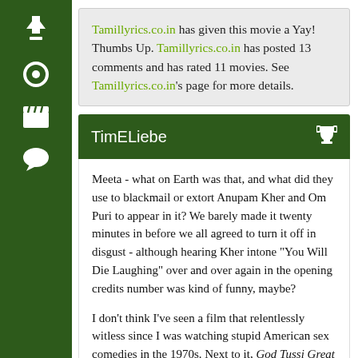[Figure (other): Dark green vertical sidebar with white icons: upward arrow, circle/record, clapperboard, speech bubble]
Tamillyrics.co.in has given this movie a Yay! Thumbs Up. Tamillyrics.co.in has posted 13 comments and has rated 11 movies. See Tamillyrics.co.in's page for more details.
TimELiebe
Meeta - what on Earth was that, and what did they use to blackmail or extort Anupam Kher and Om Puri to appear in it? We barely made it twenty minutes in before we all agreed to turn it off in disgust - although hearing Kher intone "You Will Die Laughing" over and over again in the opening credits number was kind of funny, maybe?
I don't think I've seen a film that relentlessly witless since I was watching stupid American sex comedies in the 1970s. Next to it, God Tussi Great Ho comes off as a model of intelligence and good taste.